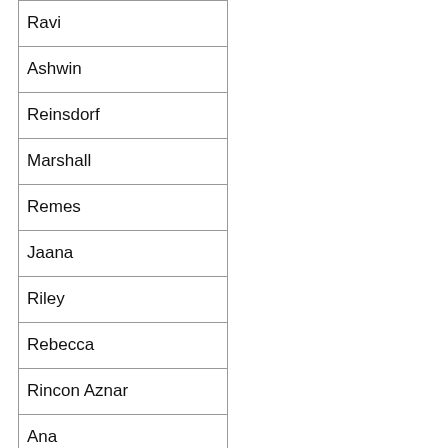| Ravi |
| Ashwin |
| Reinsdorf |
| Marshall |
| Remes |
| Jaana |
| Riley |
| Rebecca |
| Rincon Aznar |
| Ana |
| Rivera |
| Luis |
| Stehrer |
| Robert |